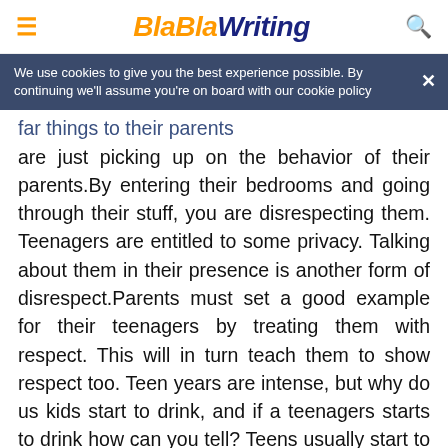BlaBlaWriting
We use cookies to give you the best experience possible. By continuing we'll assume you're on board with our cookie policy
are just picking up on the behavior of their parents.By entering their bedrooms and going through their stuff, you are disrespecting them. Teenagers are entitled to some privacy. Talking about them in their presence is another form of disrespect.Parents must set a good example for their teenagers by treating them with respect. This will in turn teach them to show respect too. Teen years are intense, but why do us kids start to drink, and if a teenagers starts to drink how can you tell? Teens usually start to drink because of peer pressure. The best way to resist the peer pressure is to know the facts about alcohol effects. Sometimes teens want to see what its like, or try to forget their loneliness and insecurity. Teenagers also use alcohol to run from problems at home or at school.